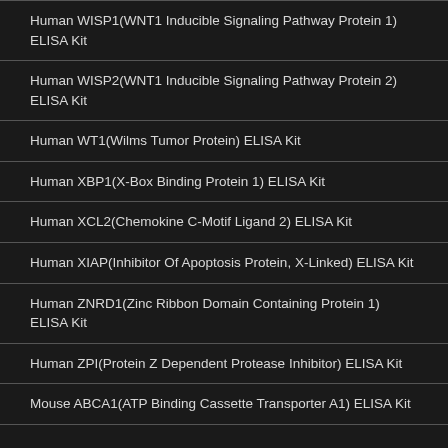Human WISP1(WNT1 Inducible Signaling Pathway Protein 1) ELISA Kit
Human WISP2(WNT1 Inducible Signaling Pathway Protein 2) ELISA Kit
Human WT1(Wilms Tumor Protein) ELISA Kit
Human XBP1(X-Box Binding Protein 1) ELISA Kit
Human XCL2(Chemokine C-Motif Ligand 2) ELISA Kit
Human XIAP(Inhibitor Of Apoptosis Protein, X-Linked) ELISA Kit
Human ZNRD1(Zinc Ribbon Domain Containing Protein 1) ELISA Kit
Human ZPI(Protein Z Dependent Protease Inhibitor) ELISA Kit
Mouse ABCA1(ATP Binding Cassette Transporter A1) ELISA Kit